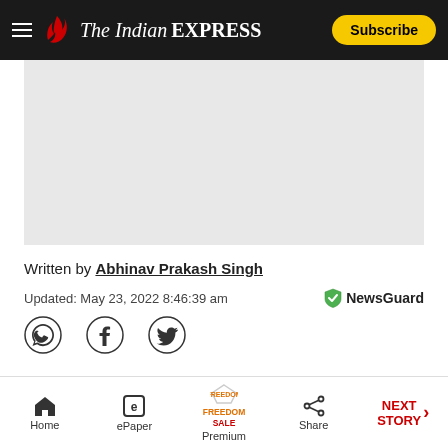The Indian Express — Subscribe
[Figure (photo): Gray image placeholder area]
Written by Abhinav Prakash Singh
Updated: May 23, 2022 8:46:39 am
[Figure (logo): NewsGuard logo with shield icon]
[Figure (other): Social sharing icons: WhatsApp, Facebook, Twitter]
Home | ePaper | Premium | Share | NEXT STORY